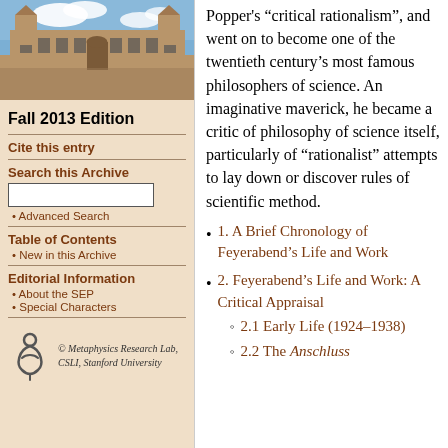[Figure (photo): Photograph of a historic university building (sandstone architecture) with blue sky and clouds]
Fall 2013 Edition
Cite this entry
Search this Archive
Advanced Search
Table of Contents
New in this Archive
Editorial Information
About the SEP
Special Characters
[Figure (logo): Metaphysics Research Lab logo — stylized figure]
© Metaphysics Research Lab, CSLI, Stanford University
Popper's “critical rationalism”, and went on to become one of the twentieth century’s most famous philosophers of science. An imaginative maverick, he became a critic of philosophy of science itself, particularly of “rationalist” attempts to lay down or discover rules of scientific method.
1. A Brief Chronology of Feyerabend’s Life and Work
2. Feyerabend’s Life and Work: A Critical Appraisal
2.1 Early Life (1924–1938)
2.2 The Anschluss